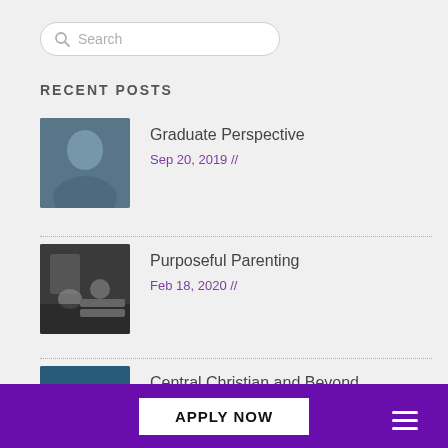Search
RECENT POSTS
Graduate Perspective
Sep 20, 2019 //
Purposeful Parenting
Feb 18, 2020 //
Central Christian and Beyond
Oct 30, 2019 //
APPLY NOW